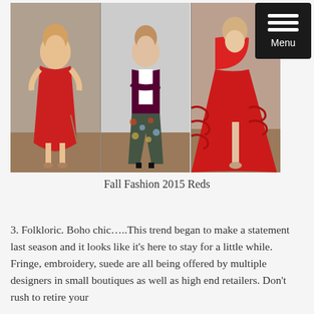[Figure (photo): Fashion photo collage showing three women in red outfits. Left: woman in red sleeveless wrap dress with heels. Center: woman in dark blazer with floral/patterned pants and black heels. Right: woman in flowing red ruffled gown with heeled sandals.]
Fall Fashion 2015 Reds
3. Folkloric. Boho chic…..This trend began to make a statement last season and it looks like it's here to stay for a little while. Fringe, embroidery, suede are all being offered by multiple designers in small boutiques as well as high end retailers. Don't rush to retire your